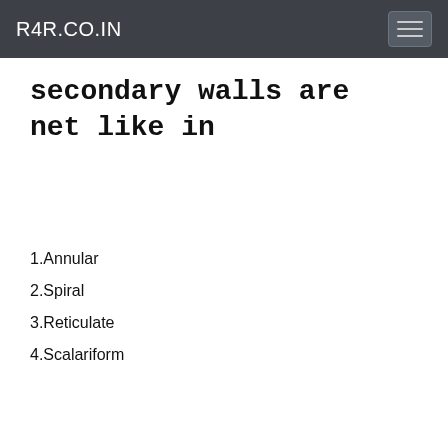R4R.CO.IN
secondary walls are net like in
1.Annular
2.Spiral
3.Reticulate
4.Scalariform